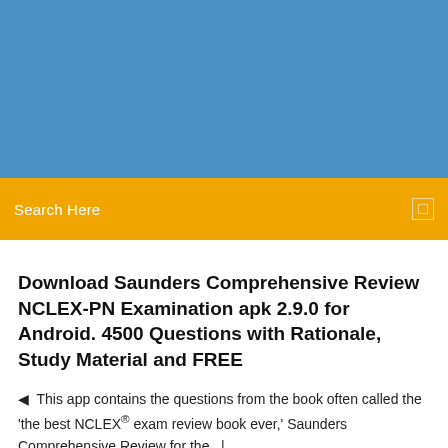[Figure (other): Blue header banner background]
Search Here
Download Saunders Comprehensive Review NCLEX-PN Examination apk 2.9.0 for Android. 4500 Questions with Rationale, Study Material and FREE
This app contains the questions from the book often called the 'the best NCLEX® exam review book ever,' Saunders Comprehensive Review for the   |
1 Comments